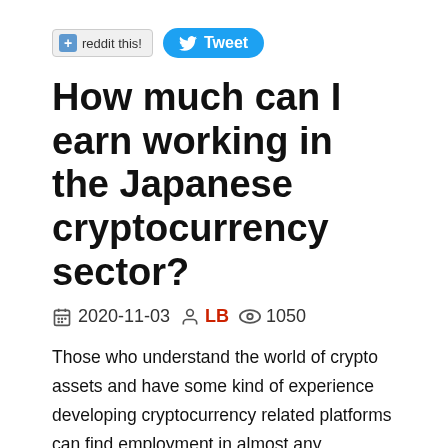[Figure (other): Reddit social share button and Twitter Tweet button]
How much can I earn working in the Japanese cryptocurrency sector?
2020-11-03   LB   1050
Those who understand the world of crypto assets and have some kind of experience developing cryptocurrency related platforms can find employment in almost any developed country. Among these countries Japan has one of the most rapidly developing crypto market and the country is in desperate need of cryptocurrency experts. If you're one of these experts you'll definitely find this article useful, because it will cast new light upon the Japanese job market and you'll gain some insight into the world of cryptocurrency related jobs. If you're not yet an expert be sure to read the whole article and